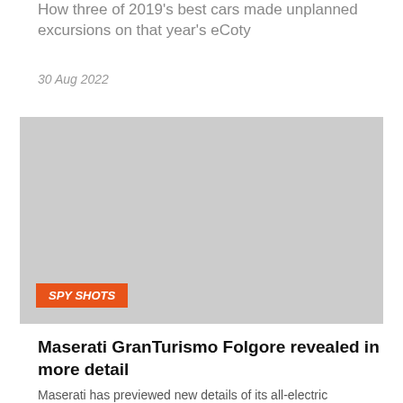How three of 2019's best cars made unplanned excursions on that year's eCoty
30 Aug 2022
[Figure (photo): Car photograph placeholder image (grey), with an orange 'SPY SHOTS' badge overlaid in the bottom left corner]
Maserati GranTurismo Folgore revealed in more detail
Maserati has previewed new details of its all-electric